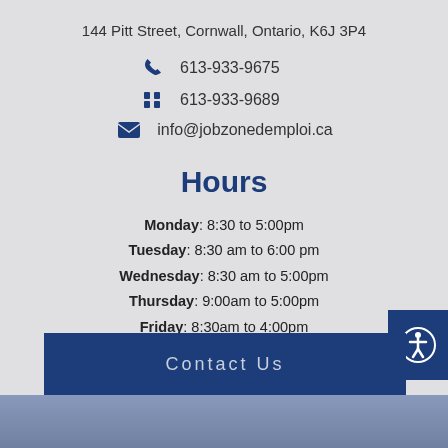144 Pitt Street, Cornwall, Ontario, K6J 3P4
613-933-9675
613-933-9689
info@jobzonedemploi.ca
Hours
Monday: 8:30 to 5:00pm
Tuesday: 8:30 am to 6:00 pm
Wednesday: 8:30 am to 5:00pm
Thursday: 9:00am to 5:00pm
Friday: 8:30am to 4:00pm
Contact Us